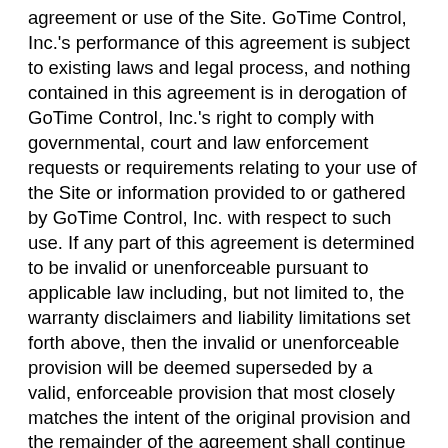agreement or use of the Site. GoTime Control, Inc.'s performance of this agreement is subject to existing laws and legal process, and nothing contained in this agreement is in derogation of GoTime Control, Inc.'s right to comply with governmental, court and law enforcement requests or requirements relating to your use of the Site or information provided to or gathered by GoTime Control, Inc. with respect to such use. If any part of this agreement is determined to be invalid or unenforceable pursuant to applicable law including, but not limited to, the warranty disclaimers and liability limitations set forth above, then the invalid or unenforceable provision will be deemed superseded by a valid, enforceable provision that most closely matches the intent of the original provision and the remainder of the agreement shall continue in effect.
Unless otherwise specified herein, this agreement constitutes the entire agreement between the user and GoTime Control, Inc. with respect to the Site and it supersedes all prior or contemporaneous communications and proposals, whether electronic, oral or written, between the user and GoTime